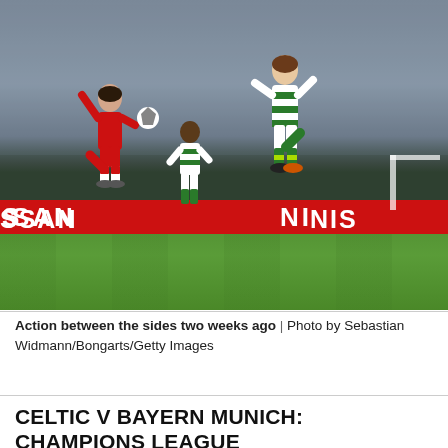[Figure (photo): Action photo of two soccer players jumping/competing for the ball — one in Bayern Munich red kit, one in Celtic green and white hooped kit — during a Champions League match. A third player is visible in the background. The Nissan advertising board is visible along the pitch side. Stadium crowd fills the background.]
Action between the sides two weeks ago  |  Photo by Sebastian Widmann/Bongarts/Getty Images
CELTIC V BAYERN MUNICH: CHAMPIONS LEAGUE